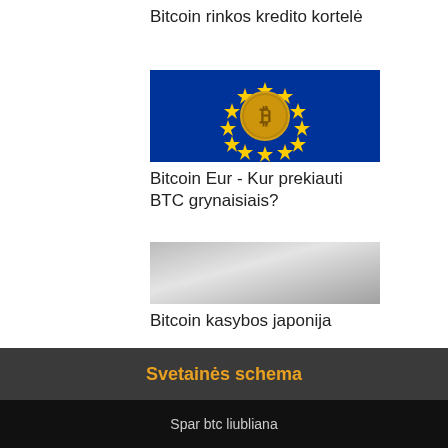Bitcoin rinkos kredito kortelė
[Figure (illustration): EU flag with Bitcoin coin in center — blue background with yellow stars arranged in circle, gold Bitcoin coin in the middle]
Bitcoin Eur - Kur prekiauti BTC grynaisiais?
[Figure (photo): Blurred grayscale image related to Bitcoin mining Japan]
Bitcoin kasybos japonija
Svetainės schema
Spar btc liubliana